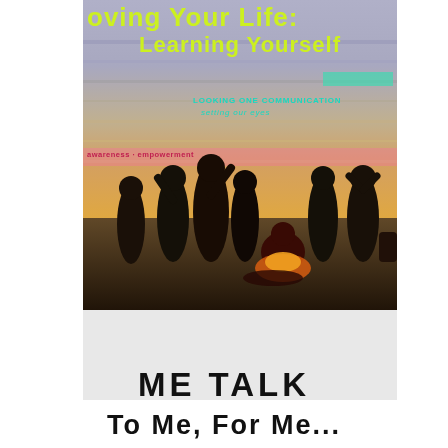[Figure (photo): Book cover image showing silhouettes of a group of people gathered outdoors at sunset/dusk around what appears to be a campfire, with a colorful sky background. Text overlay on the image reads partial title 'oving Your Life: Learning Yourself' in yellow-green, and additional smaller text in teal. Pink band with text across the middle portion.]
ME TALK
To Me, For Me...